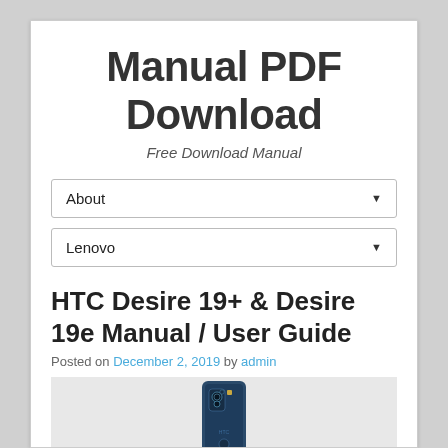Manual PDF Download
Free Download Manual
About
Lenovo
HTC Desire 19+ & Desire 19e Manual / User Guide
Posted on December 2, 2019 by admin
[Figure (photo): Photo of an HTC smartphone (HTC Desire 19+ or 19e) showing the back of the device]